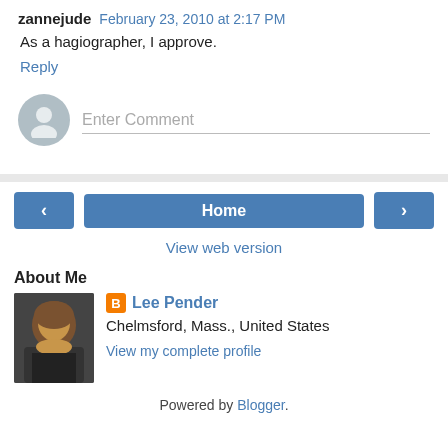zannejude  February 23, 2010 at 2:17 PM
As a hagiographer, I approve.
Reply
Enter Comment
Home
View web version
About Me
Lee Pender
Chelmsford, Mass., United States
View my complete profile
Powered by Blogger.